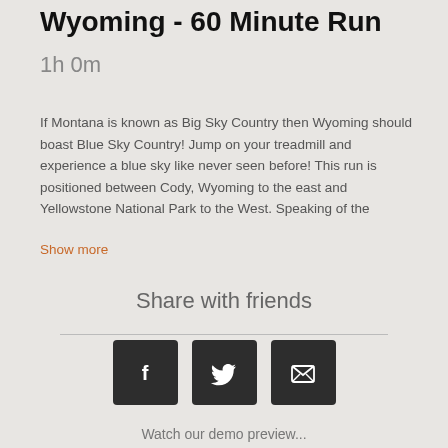Wyoming - 60 Minute Run
1h 0m
If Montana is known as Big Sky Country then Wyoming should boast Blue Sky Country! Jump on your treadmill and experience a blue sky like never seen before! This run is positioned between Cody, Wyoming to the east and Yellowstone National Park to the West. Speaking of the
Show more
Share with friends
[Figure (infographic): Three social sharing buttons: Facebook (f), Twitter (bird), and Email (envelope) icons on dark square backgrounds]